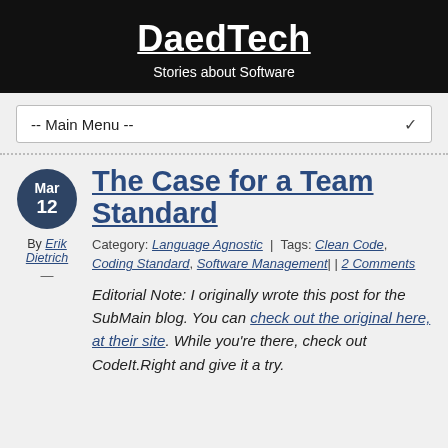DaedTech
Stories about Software
-- Main Menu --
The Case for a Team Standard
By Erik Dietrich
Category: Language Agnostic | Tags: Clean Code, Coding Standard, Software Management | | 2 Comments
Editorial Note: I originally wrote this post for the SubMain blog.  You can check out the original here, at their site.  While you're there, check out CodeIt.Right and give it a try.